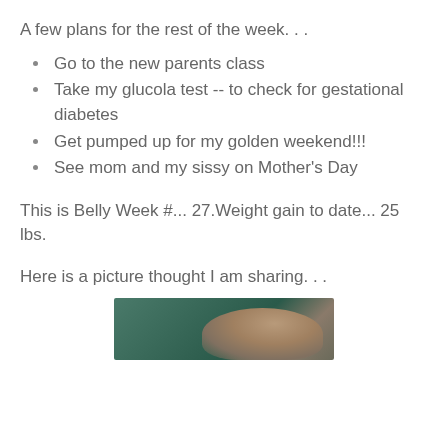A few plans for the rest of the week. . .
Go to the new parents class
Take my glucola test -- to check for gestational diabetes
Get pumped up for my golden weekend!!!
See mom and my sissy on Mother's Day
This is Belly Week #... 27.Weight gain to date... 25 lbs.
Here is a picture thought I am sharing. . .
[Figure (photo): A photo of a person, partially visible, with a green/teal background.]